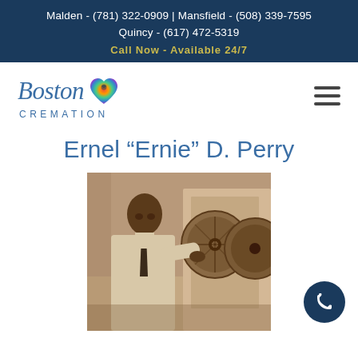Malden - (781) 322-0909 | Mansfield - (508) 339-7595 Quincy - (617) 472-5319 Call Now - Available 24/7
[Figure (logo): Boston Cremation logo with script text 'Boston', a colorful heart icon, and 'CREMATION' in spaced caps below]
Ernel “Ernie” D. Perry
[Figure (photo): Sepia-toned vintage photograph of a Black man in a white shirt and dark tie, working at what appears to be industrial or recording equipment with large circular discs]